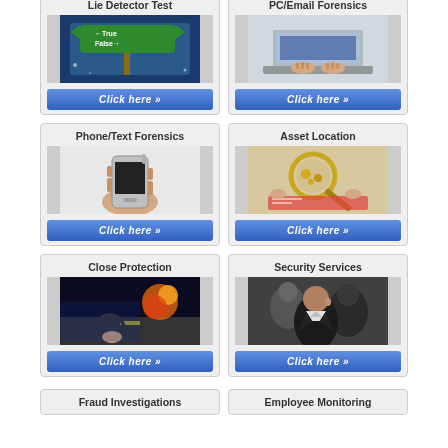[Figure (photo): Lie Detector Test card with image of True/False sign]
[Figure (photo): PC/Email Forensics card with image of person typing on laptop]
[Figure (photo): Phone/Text Forensics card with image of hand holding mobile phone]
[Figure (photo): Asset Location card with image of magnifying glass over items]
[Figure (photo): Close Protection card with image of person driving with explosions]
[Figure (photo): Security Services card with image of security personnel]
Fraud Investigations
Employee Monitoring